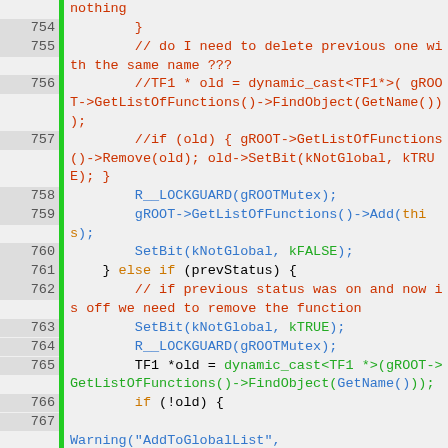[Figure (screenshot): Source code viewer showing lines 754-767 of C++ code with syntax highlighting. Lines include a closing brace, comments about deleting previous functions with same name, commented-out TF1 dynamic_cast code, R__LOCKGUARD calls, GetListOfFunctions operations, SetBit calls, an else-if block for prevStatus, and a Warning call about AddToGlobalList.]